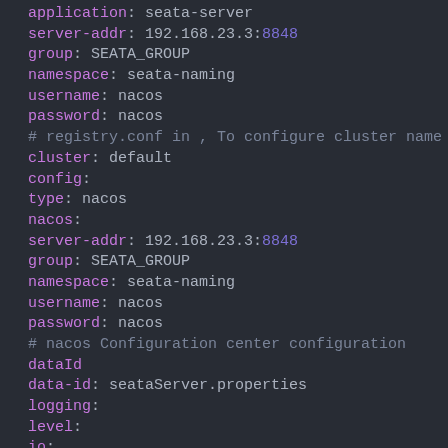application: seata-server
server-addr: 192.168.23.3:8848
group: SEATA_GROUP
namespace: seata-naming
username: nacos
password: nacos
# registry.conf in , To configure cluster name
cluster: default
config:
type: nacos
nacos:
server-addr: 192.168.23.3:8848
group: SEATA_GROUP
namespace: seata-naming
username: nacos
password: nacos
# nacos Configuration center configuration
dataId
data-id: seataServer.properties
logging:
level:
io: